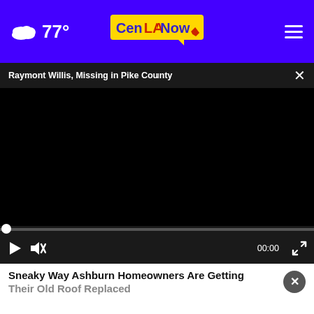CenLA Now — 77°
Raymont Willis, Missing in Pike County
[Figure (screenshot): Black video player area showing paused video at 00:00 with play, mute, and fullscreen controls]
Sneaky Way Ashburn Homeowners Are Getting Their Old Roof Replaced
SmartConsumerUpdate.com
[Figure (advertisement): Gordon McKernan 443-8888 law firm advertisement banner with yellow background and red phone number]